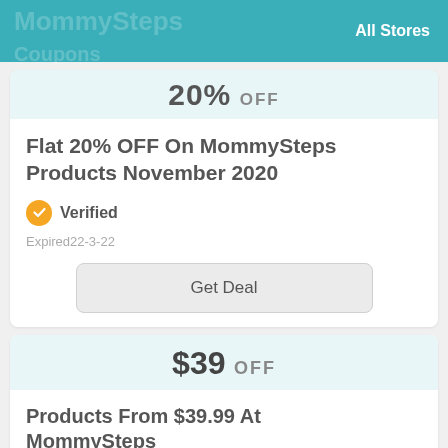All Stores
20% OFF
Flat 20% OFF On MommySteps Products November 2020
Verified
Expired22-3-22
Get Deal
$39 OFF
Products From $39.99 At MommySteps
Verified
Expired13-8-22